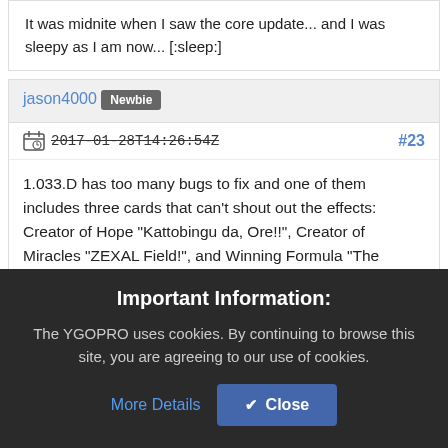It was midnite when I saw the core update... and I was sleepy as I am now... [:sleep:]
jason4000
Newbie
2017-01-28T14:26:54Z  #23
1.033.D has too many bugs to fix and one of them includes three cards that can't shout out the effects: Creator of Hope "Kattobingu da, Ore!!", Creator of Miracles "ZEXAL Field!", and Winning Formula "The
Important Information:
The YGOPRO uses cookies. By continuing to browse this site, you are agreeing to our use of cookies.
More Details
Close